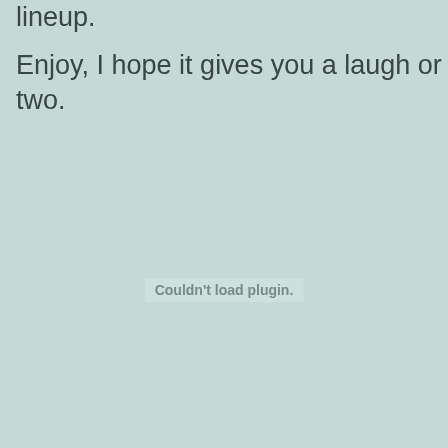lineup.
Enjoy, I hope it gives you a laugh or two.
Couldn't load plugin.